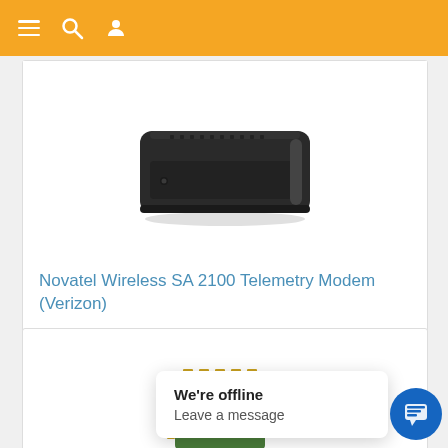Navigation bar with menu, search, and profile icons
[Figure (photo): Novatel Wireless SA 2100 Telemetry Modem device — black rectangular hardware unit]
Novatel Wireless SA 2100 Telemetry Modem (Verizon)
[Figure (photo): A green circuit board / chip module]
We're offline
Leave a message